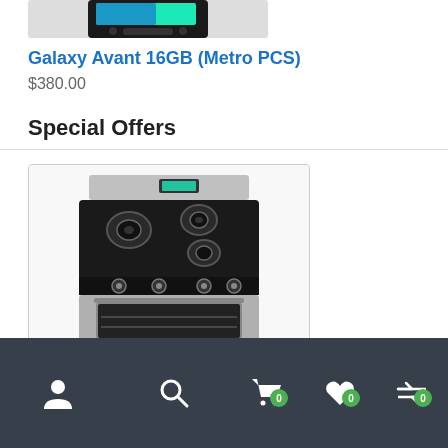[Figure (photo): Partial top view of a Samsung Galaxy Avant smartphone showing the screen]
Galaxy Avant 16GB (Metro PCS)
$380.00
Special Offers
[Figure (photo): Stainless steel gas range/oven appliance with black cooktop, multiple burners, oven window, and digital display on top]
Navigation bar with user, search, cart (0), wishlist (0), and returns (0) icons